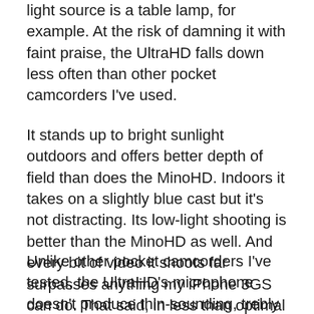light source is a table lamp, for example. At the risk of damning it with faint praise, the UltraHD falls down less often than other pocket camcorders I've used.
It stands up to bright sunlight outdoors and offers better depth of field than does the MinoHD. Indoors it takes on a slightly blue cast but it's not distracting. Its low-light shooting is better than the MinoHD as well. And every bit of video it shoots far surpasses anything my iPhone 3GS can do. That said, in less than optimal shooting conditions you will always get better looking video from a full-sized HD camcorder.
Unlike other pocket camcorders I've tested, the UltraHD's microphone doesn't produce thin-sounding, trebly audio. It's hardly a sonic wonder, but you can hear some lower frequencies in what it